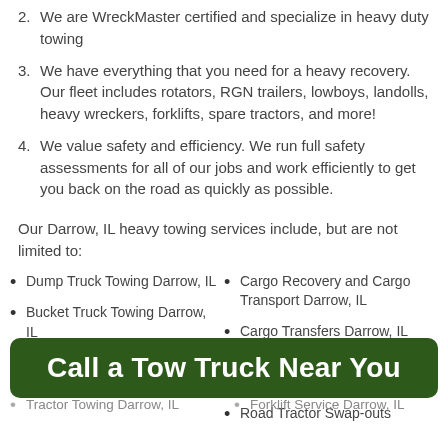2. We are WreckMaster certified and specialize in heavy duty towing
3. We have everything that you need for a heavy recovery. Our fleet includes rotators, RGN trailers, lowboys, landolls, heavy wreckers, forklifts, spare tractors, and more!
4. We value safety and efficiency. We run full safety assessments for all of our jobs and work efficiently to get you back on the road as quickly as possible.
Our Darrow, IL heavy towing services include, but are not limited to:
Dump Truck Towing Darrow, IL
Cargo Recovery and Cargo Transport Darrow, IL
Bucket Truck Towing Darrow, IL
Cargo Transfers Darrow, IL
Heavy Load Shifting Darrow, IL
Boom Trucks or Lift Towing Darrow, IL
Road Tractor Swap-outs
Call a Tow Truck Near You
Tractor Towing Darrow, IL
Forklift Service Darrow, IL